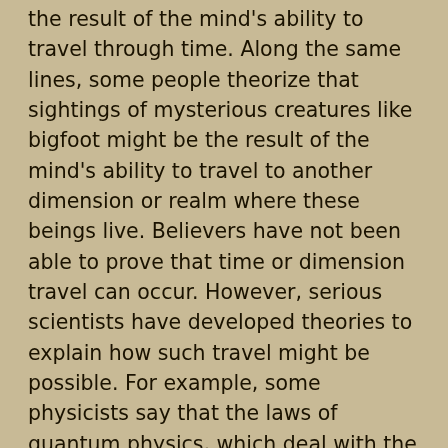the result of the mind's ability to travel through time. Along the same lines, some people theorize that sightings of mysterious creatures like bigfoot might be the result of the mind's ability to travel to another dimension or realm where these beings live. Believers have not been able to prove that time or dimension travel can occur. However, serious scientists have developed theories to explain how such travel might be possible. For example, some physicists say that the laws of quantum physics, which deal with the behaviour of matter at the subatomic level, suggest the existence of a particle known as a tachyon is a possibility. This particle, if it exists, would travel faster than the speed of light and therefore, based on ideas developed by physicist Albert Einstein, might also be able to travel backward in time. Similarly, some people believe that quantum mechanics allows for multiple time lines and